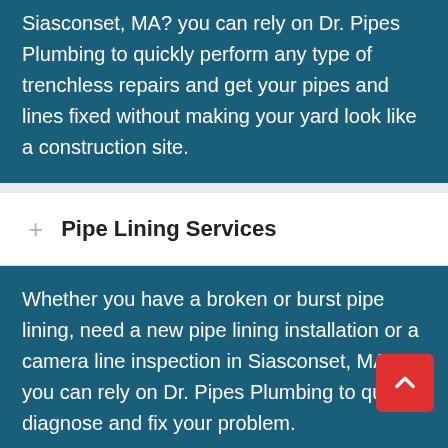Siasconset, MA? you can rely on Dr. Pipes Plumbing to quickly perform any type of trenchless repairs and get your pipes and lines fixed without making your yard look like a construction site.
Pipe Lining Services
Whether you have a broken or burst pipe lining, need a new pipe lining installation or a camera line inspection in Siasconset, MA, you can rely on Dr. Pipes Plumbing to quickly diagnose and fix your problem.
Water Jetting Services